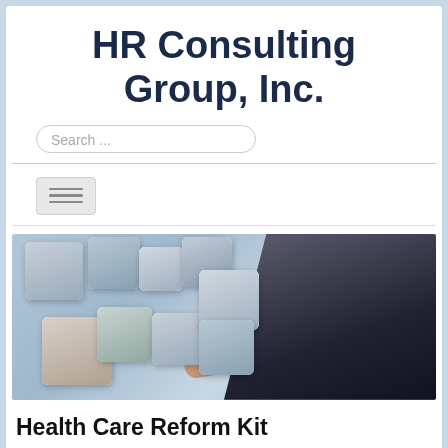HR Consulting Group, Inc.
[Figure (screenshot): Search bar UI element with placeholder text 'Search ...']
[Figure (screenshot): Hamburger menu button with three horizontal lines]
[Figure (photo): Photo of a man in a dark suit pointing finger at floating photo cards of various business people]
Health Care Reform Kit